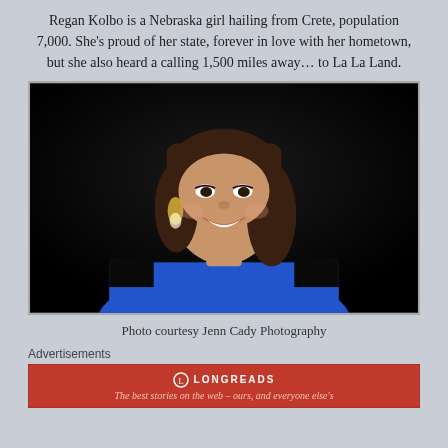Regan Kolbo is a Nebraska girl hailing from Crete, population 7,000. She's proud of her state, forever in love with her hometown, but she also heard a calling 1,500 miles away… to La La Land.
[Figure (photo): Portrait photo of a young woman with brown shoulder-length hair, wearing a royal blue dress and large decorative earrings, smiling, against a dark background.]
Photo courtesy Jenn Cady Photography
Advertisements
[Figure (other): Longreads advertisement banner in red with white circle logo, text reading LONGREADS and 'The best stories on the web – ours, and everyone else's']